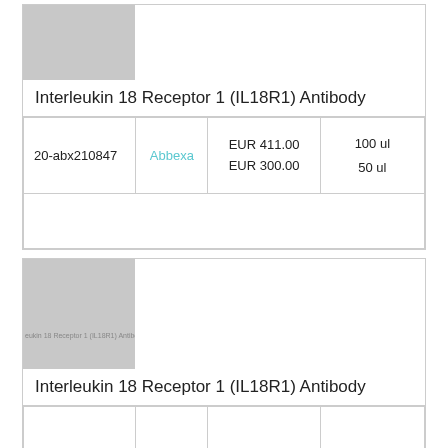[Figure (photo): Gray placeholder image for product]
Interleukin 18 Receptor 1 (IL18R1) Antibody
|  |  |  |  |
| --- | --- | --- | --- |
| 20-abx210847 | Abbexa | EUR 411.00
EUR 300.00 | 100 ul
50 ul |
|  |  |  |  |
[Figure (photo): Gray placeholder image with text overlay for second product]
Interleukin 18 Receptor 1 (IL18R1) Antibody
|  |  |  |  |
| --- | --- | --- | --- |